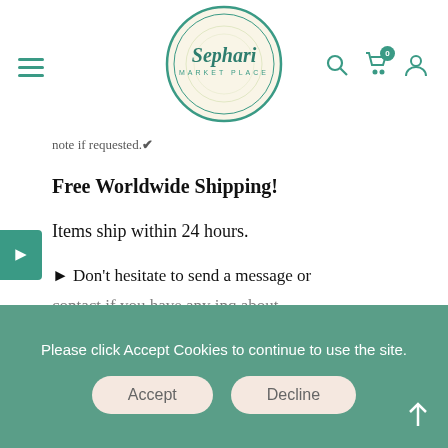[Figure (logo): Sephari Market Place circular logo with teal border and decorative background, script font]
note if requested.✔
Free Worldwide Shipping!
Items ship within 24 hours.
► Don't hesitate to send a message or
Please click Accept Cookies to continue to use the site.